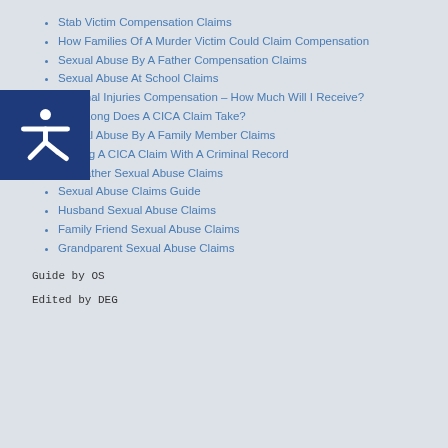Stab Victim Compensation Claims
How Families Of A Murder Victim Could Claim Compensation
Sexual Abuse By A Father Compensation Claims
Sexual Abuse At School Claims
Criminal Injuries Compensation – How Much Will I Receive?
How Long Does A CICA Claim Take?
Sexual Abuse By A Family Member Claims
Making A CICA Claim With A Criminal Record
Stepfather Sexual Abuse Claims
Sexual Abuse Claims Guide
Husband Sexual Abuse Claims
Family Friend Sexual Abuse Claims
Grandparent Sexual Abuse Claims
Guide by OS
Edited by DEG